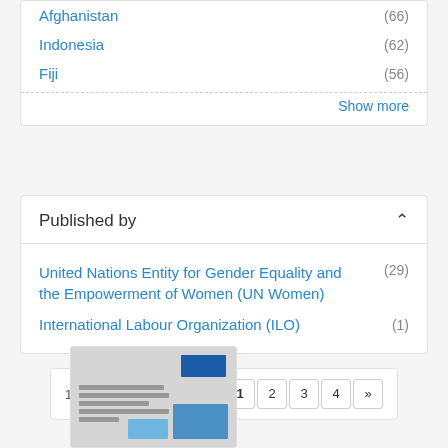Afghanistan (66)
Indonesia (62)
Fiji (56)
Show more
Published by
United Nations Entity for Gender Equality and the Empowerment of Women (UN Women) (29)
International Labour Organization (ILO) (1)
1 - 20 of 73 Results
[Figure (screenshot): Thumbnail of a document cover page with blue header block and images]